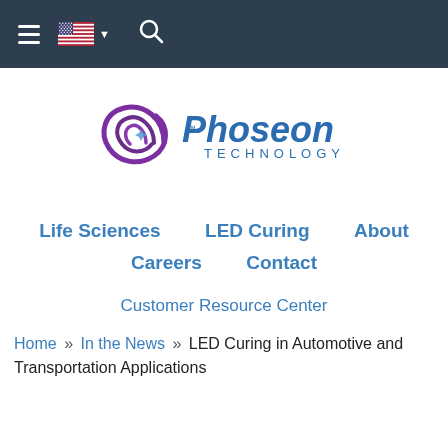Navigation bar with hamburger menu, US flag, dropdown, and search icon
[Figure (logo): Phoseon Technology logo with purple swirl and blue text]
Life Sciences | LED Curing | About | Careers | Contact
Customer Resource Center
Home » In the News » LED Curing in Automotive and Transportation Applications